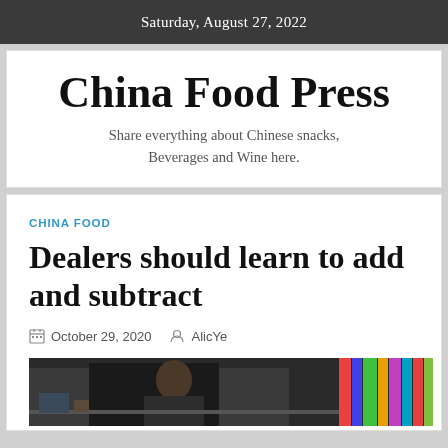Saturday, August 27, 2022
China Food Press
Share everything about Chinese snacks, Beverages and Wine here.
CHINA FOOD
Dealers should learn to add and subtract
October 29, 2020   AlicYe
[Figure (photo): A person sitting at a desk with books and colorful items in background]